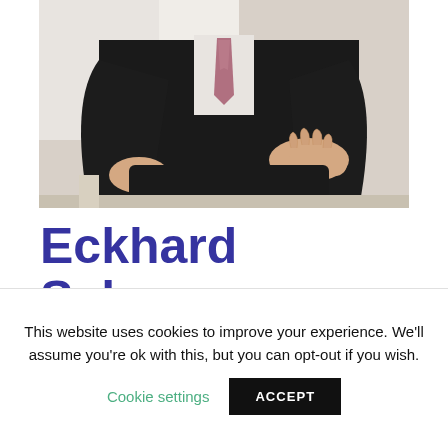[Figure (photo): A man in a dark suit with a patterned tie, seated, hands resting on knee, partial torso/hands view against a light background.]
Eckhard Schwenner
CEO Health-I Business Consulting, HealthTech TAB expert, Germany
This website uses cookies to improve your experience. We'll assume you're ok with this, but you can opt-out if you wish.
Cookie settings   ACCEPT